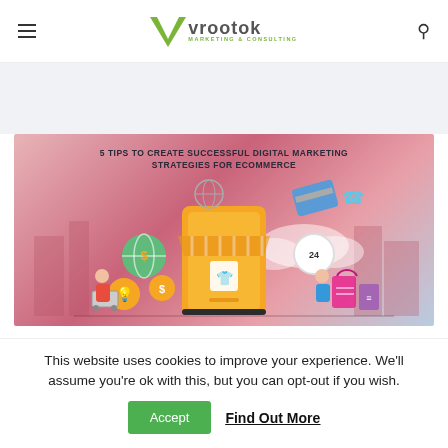vrootok MARKETING & CONSULTING
[Figure (infographic): Ecommerce digital marketing illustration with text '5 TIPS TO CREATE SUCCESSFUL DIGITAL MARKETING STRATEGIES FOR ECOMMERCE'. Shows an orange storefront/phone with shopping elements, globe, shopping cart, credit card, clock, and shopping bags on a pink-purple gradient background.]
This website uses cookies to improve your experience. We'll assume you're ok with this, but you can opt-out if you wish.
Accept  Find Out More